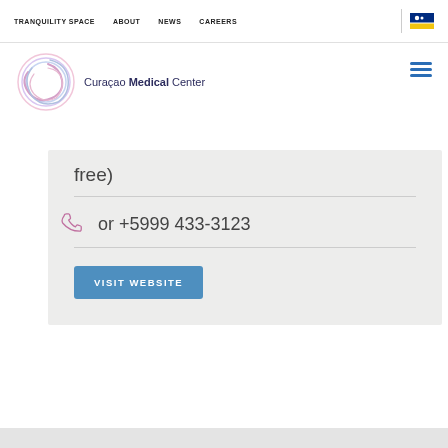TRANQUILITY SPACE | ABOUT | NEWS | CAREERS
[Figure (logo): Curacao Medical Center logo with circular swirl graphic and text 'Curaçao Medical Center']
free)
or +5999 433-3123
VISIT WEBSITE